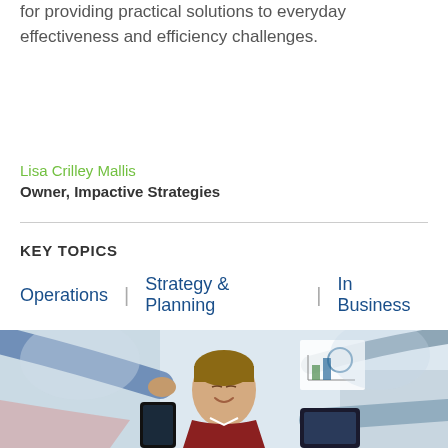for providing practical solutions to everyday effectiveness and efficiency challenges.
Lisa Crilley Mallis
Owner, Impactive Strategies
KEY TOPICS
Operations | Strategy & Planning | In Business
[Figure (photo): A young man in the center looking down and smiling, with multiple hands reaching toward him from different directions — one holding keys, one holding a smartphone, and one holding a tablet. A chart is visible in the blurred background.]